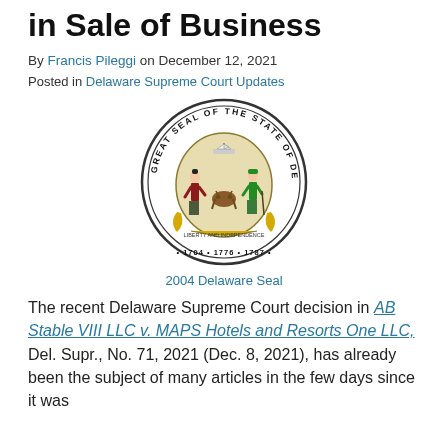in Sale of Business
By Francis Pileggi on December 12, 2021
Posted in Delaware Supreme Court Updates
[Figure (illustration): Great Seal of the State of Delaware, circular seal with two figures, a ship, an ox, and the dates 1704, 1776, 1787]
2004 Delaware Seal
The recent Delaware Supreme Court decision in AB Stable VIII LLC v. MAPS Hotels and Resorts One LLC, Del. Supr., No. 71, 2021 (Dec. 8, 2021), has already been the subject of many articles in the few days since it was